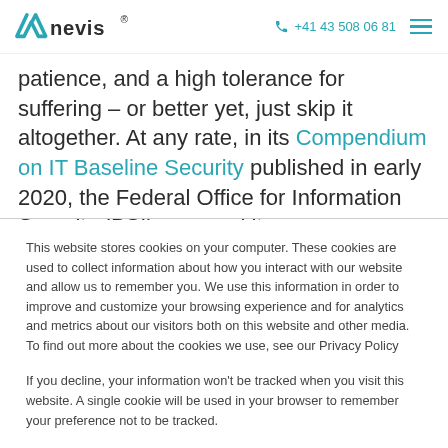nevis | +41 43 508 06 81
patience, and a high tolerance for suffering – or better yet, just skip it altogether. At any rate, in its Compendium on IT Baseline Security published in early 2020, the Federal Office for Information Security (BSI) removed its
This website stores cookies on your computer. These cookies are used to collect information about how you interact with our website and allow us to remember you. We use this information in order to improve and customize your browsing experience and for analytics and metrics about our visitors both on this website and other media. To find out more about the cookies we use, see our Privacy Policy
If you decline, your information won't be tracked when you visit this website. A single cookie will be used in your browser to remember your preference not to be tracked.